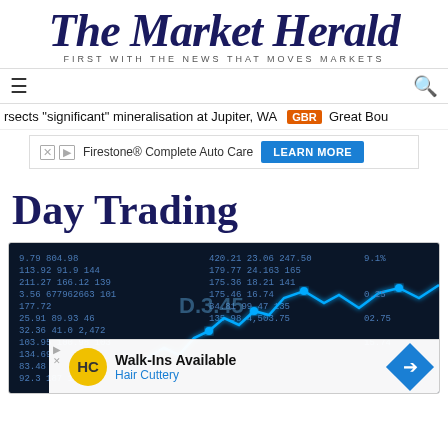[Figure (logo): The Market Herald newspaper logo in dark navy blue italic serif font]
FIRST WITH THE NEWS THAT MOVES MARKETS
rsects "significant" mineralisation at Jupiter, WA  GBR  Great Bou
[Figure (screenshot): Firestone Complete Auto Care advertisement banner with LEARN MORE button]
Day Trading
[Figure (photo): Stock market trading screen showing financial data numbers and a glowing blue line chart overlay on dark blue background]
[Figure (screenshot): Walk-Ins Available Hair Cuttery advertisement overlay with HC yellow logo and blue arrow icon]